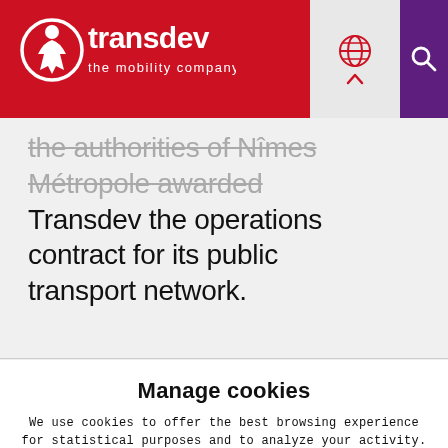[Figure (logo): Transdev logo with globe icon on red background. White text: 'transdev' and 'the mobility company'. Globe and arrow icons in grey section. Purple search icon section.]
the authorities of Nîmes Métropole awarded Transdev the operations contract for its public transport network.
Manage cookies
We use cookies to offer the best browsing experience for statistical purposes and to analyze your activity. For more information, see our privacy policy.
Accept cookies
Refuse cookies
Manage cookies